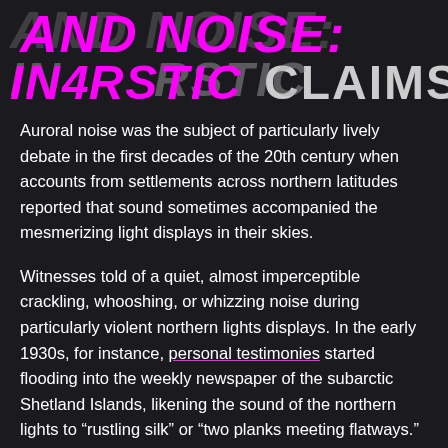AND NOISE: INARSTIC CLAIMS
Auroral noise was the subject of particularly lively debate in the first decades of the 20th century when accounts from settlements across northern latitudes reported that sound sometimes accompanied the mesmerizing light displays in their skies.
Witnesses told of a quiet, almost imperceptible crackling, whooshing, or whizzing noise during particularly violent northern lights displays. In the early 1930s, for instance, personal testimonies started flooding into the weekly newspaper of the subarctic Shetland Islands, likening the sound of the northern lights to “rustling silk” or “two planks meeting flatways.”